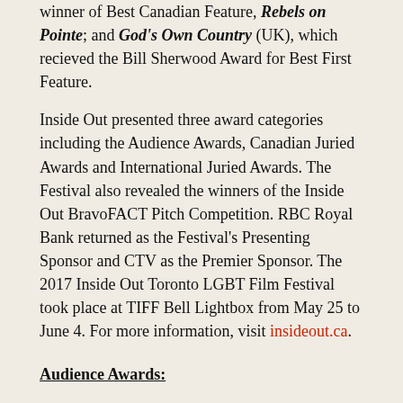winner of Best Canadian Feature, Rebels on Pointe; and God's Own Country (UK), which recieved the Bill Sherwood Award for Best First Feature.
Inside Out presented three award categories including the Audience Awards, Canadian Juried Awards and International Juried Awards. The Festival also revealed the winners of the Inside Out BravoFACT Pitch Competition. RBC Royal Bank returned as the Festival's Presenting Sponsor and CTV as the Premier Sponsor. The 2017 Inside Out Toronto LGBT Film Festival took place at TIFF Bell Lightbox from May 25 to June 4. For more information, visit insideout.ca.
Audience Awards:
Best Narrative Feature
Sisterhood (Macau/Hong Kong/ Taiwan), directed by Tracy Choi